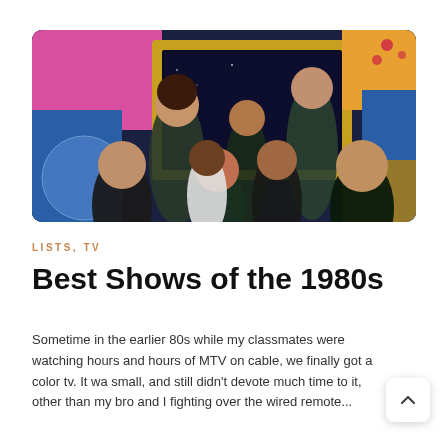[Figure (photo): Colorful promotional photo of a group of TV show cast members from the 1980s, posing exuberantly in front of a vibrant pop-art collage background with bright colors including pink, blue, yellow/gold, and green.]
LISTS, TV
Best Shows of the 1980s
Sometime in the earlier 80s while my classmates were watching hours and hours of MTV on cable, we finally got a color tv. It wa small, and still didn't devote much time to it, other than my bro and I fighting over the wired remote...